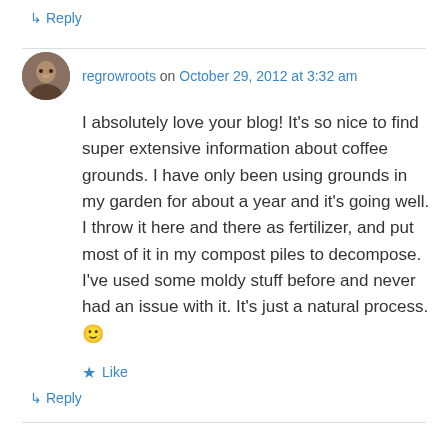↳ Reply
regrowroots on October 29, 2012 at 3:32 am
I absolutely love your blog! It’s so nice to find super extensive information about coffee grounds. I have only been using grounds in my garden for about a year and it’s going well. I throw it here and there as fertilizer, and put most of it in my compost piles to decompose. I’ve used some moldy stuff before and never had an issue with it. It’s just a natural process. 🙂
★ Like
↳ Reply